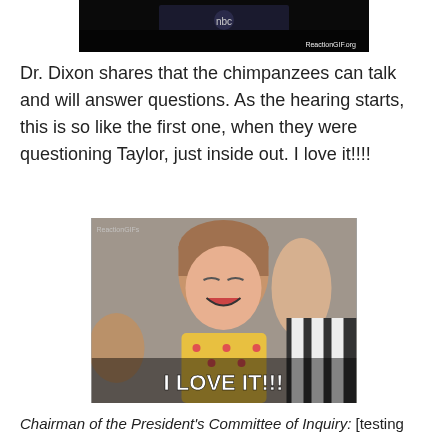[Figure (photo): Partial image at top showing dark background with NBC logo watermark and 'ReactionGIF.org' label]
Dr. Dixon shares that the chimpanzees can talk and will answer questions. As the hearing starts, this is so like the first one, when they were questioning Taylor, just inside out. I love it!!!!
[Figure (photo): Reaction GIF image of a young girl excitedly clapping/high-fiving with text overlay 'I LOVE IT!!!' and watermark 'ReactionGIFs' in top left]
Chairman of the President's Committee of Inquiry: [testing